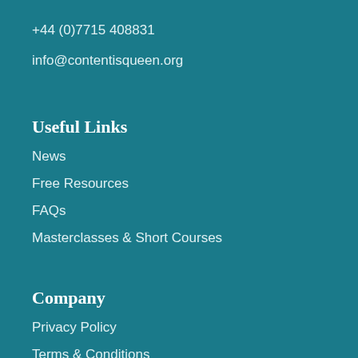+44 (0)7715 408831
info@contentisqueen.org
Useful Links
News
Free Resources
FAQs
Masterclasses & Short Courses
Company
Privacy Policy
Terms & Conditions